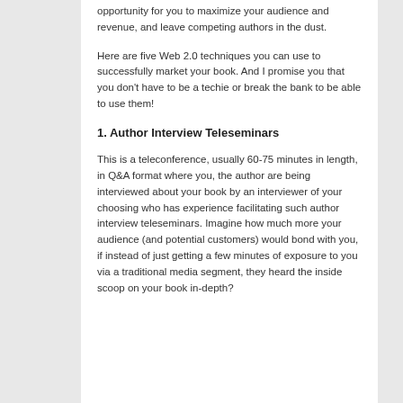opportunity for you to maximize your audience and revenue, and leave competing authors in the dust.
Here are five Web 2.0 techniques you can use to successfully market your book. And I promise you that you don't have to be a techie or break the bank to be able to use them!
1. Author Interview Teleseminars
This is a teleconference, usually 60-75 minutes in length, in Q&A format where you, the author are being interviewed about your book by an interviewer of your choosing who has experience facilitating such author interview teleseminars. Imagine how much more your audience (and potential customers) would bond with you, if instead of just getting a few minutes of exposure to you via a traditional media segment, they heard the inside scoop on your book in-depth?